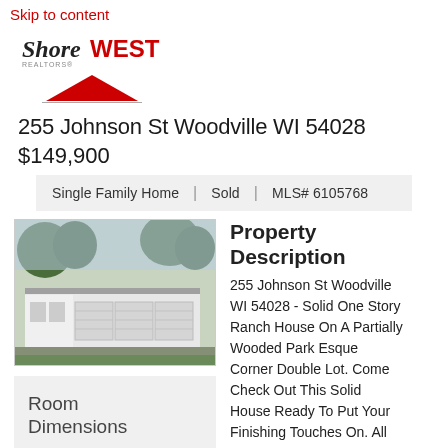Skip to content
[Figure (logo): ShoreWEST Realtors logo with red triangle icon]
255 Johnson St Woodville WI 54028 $149,900
Single Family Home | Sold | MLS# 6105768
[Figure (photo): Exterior photo of a single-story ranch house with large garage and driveway]
Property Description
255 Johnson St Woodville WI 54028 - Solid One Story Ranch House On A Partially Wooded Park Esque Corner Double Lot. Come Check Out This Solid House Ready To Put Your Finishing Touches On. All
Room Dimensions
Main